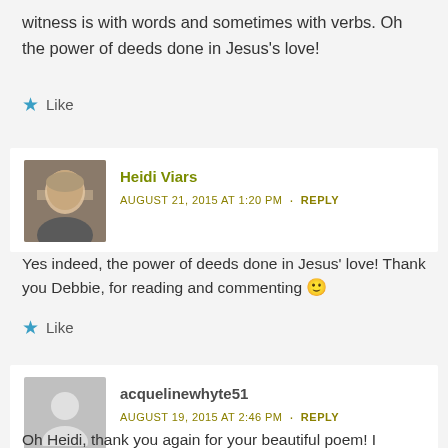witness is with words and sometimes with verbs. Oh the power of deeds done in Jesus's love!
★ Like
Heidi Viars
AUGUST 21, 2015 AT 1:20 PM · REPLY
Yes indeed, the power of deeds done in Jesus' love! Thank you Debbie, for reading and commenting 🙂
★ Like
acquelinewhyte51
AUGUST 19, 2015 AT 2:46 PM · REPLY
Oh Heidi, thank you again for your beautiful poem! I